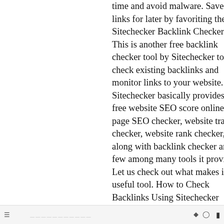time and avoid malware. Save links for later by favoriting them. - Sitechecker Backlink Checker. This is another free backlink checker tool by Sitechecker to check existing backlinks and monitor links to your website. Sitechecker basically provides a free website SEO score online. On page SEO checker, website traffic checker, website rank checker, etc. along with backlink checker are a few among many tools it provides. Let us check out what makes it a useful tool. How to Check Backlinks Using Sitechecker Backlink Checker? Step 1: Open Sitechecker Backlink Checker, and you will reach the following page. Step 2: Enter the target URL into the Sitecheckers search box.
≡   ◁  ○  □